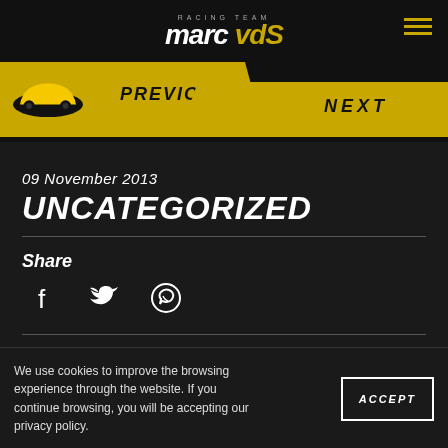RACING TEAM marc vdS
[Figure (logo): Racing Team Marc VDS logo with yellow car icon and navigation buttons showing PREVIOUS and NEXT]
09 November 2013
UNCATEGORIZED
Share
[Figure (illustration): Social share icons: Facebook, Twitter, WhatsApp]
We use cookies to improve the browsing experience through the website. If you continue browsing, you will be accepting our privacy policy.